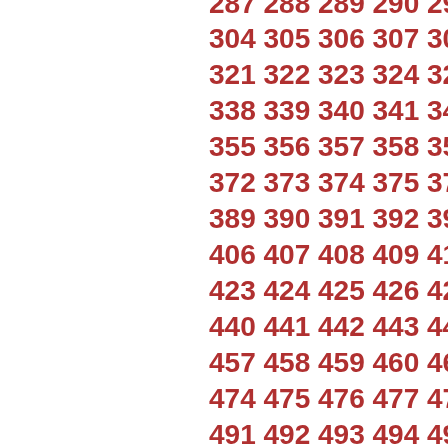287 288 289 290 291 292 293 2...
304 305 306 307 308 309 310 3...
321 322 323 324 325 326 327 3...
338 339 340 341 342 343 344 34...
355 356 357 358 359 360 361 36...
372 373 374 375 376 377 378 37...
389 390 391 392 393 394 395 39...
406 407 408 409 410 411 412 41...
423 424 425 426 427 428 429 43...
440 441 442 443 444 445 446 44...
457 458 459 460 461 462 463 46...
474 475 476 477 478 479 480 48...
491 492 493 494 495 496 497 49...
508 509 510 511 512 513 514 51...
525 526 527 528 529 530 531 53...
542 543 544 545 546 547 548 54...
559 560 561 562 563 564 565 56...
576 577 578 579 580 581 582 58...
593 594 595 596 597 598 599 60...
610 611 612 613 614 615 616 61...
627 628 629 630 631 632 633 63...
644 645 646 647 648 649 650 65...